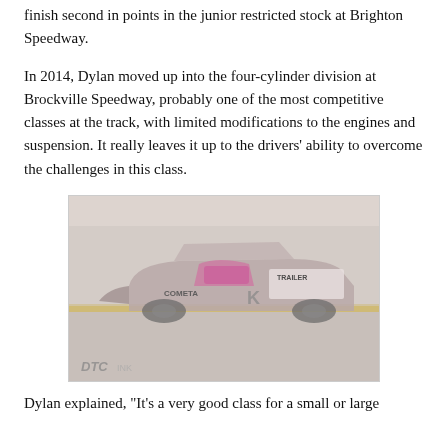finish second in points in the junior restricted stock at Brighton Speedway.
In 2014, Dylan moved up into the four-cylinder division at Brockville Speedway, probably one of the most competitive classes at the track, with limited modifications to the engines and suspension. It really leaves it up to the drivers' ability to overcome the challenges in this class.
[Figure (photo): A washed-out/faded photograph of a race car on a speedway track. The car appears to be a stock car with pink and white markings, with text visible including 'COMETA', 'K', and 'TRAILER' on the body. The image has a watermark reading 'DTC' at the bottom left.]
Dylan explained, "It's a very good class for a small or large